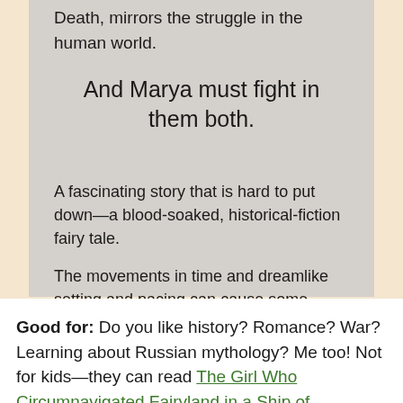Death, mirrors the struggle in the human world.
And Marya must fight in them both.
A fascinating story that is hard to put down—a blood-soaked, historical-fiction fairy tale.
The movements in time and dreamlike setting and pacing can cause some difficulty in keeping track of the plot, but it's well worth the read.
Good for: Do you like history? Romance? War? Learning about Russian mythology? Me too! Not for kids—they can read The Girl Who Circumnavigated Fairyland in a Ship of